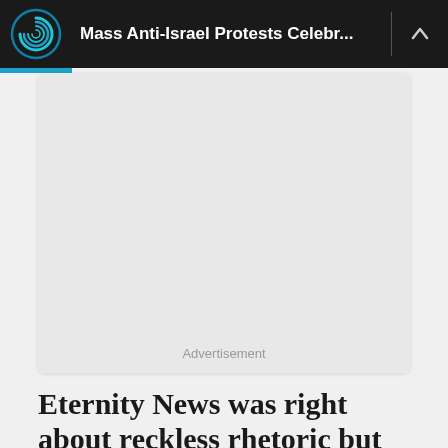Mass Anti-Israel Protests Celebr...
[Figure (other): Advertisement placeholder — large light gray rectangle with 'Advertisement' label centered near bottom]
Eternity News was right about reckless rhetoric but spectacularly wrong in who